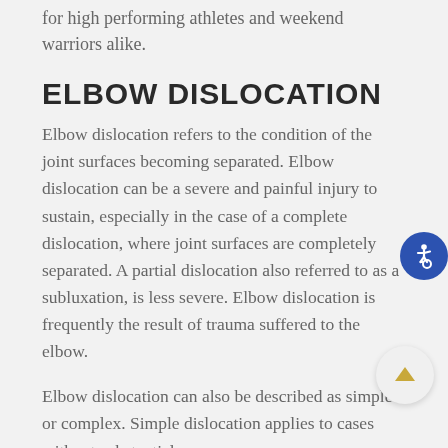for high performing athletes and weekend warriors alike.
ELBOW DISLOCATION
Elbow dislocation refers to the condition of the joint surfaces becoming separated. Elbow dislocation can be a severe and painful injury to sustain, especially in the case of a complete dislocation, where joint surfaces are completely separated. A partial dislocation also referred to as a subluxation, is less severe. Elbow dislocation is frequently the result of trauma suffered to the elbow.
Elbow dislocation can also be described as simple or complex. Simple dislocation applies to cases without substantial